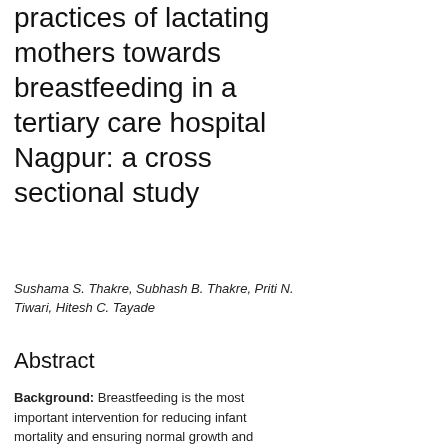practices of lactating mothers towards breastfeeding in a tertiary care hospital Nagpur: a cross sectional study
Sushama S. Thakre, Subhash B. Thakre, Priti N. Tiwari, Hitesh C. Tayade
Abstract
Background: Breastfeeding is the most important intervention for reducing infant mortality and ensuring normal growth and development of a child. Objective of this study was to assess the knowledge, attitude, and practices toward Breastfeeding among lactating mothers visiting
Browse
By Issue
By Author
By Title
Font
Size
Information
For Readers
For Authors
For Librarians
Notifications
View
Subscribe